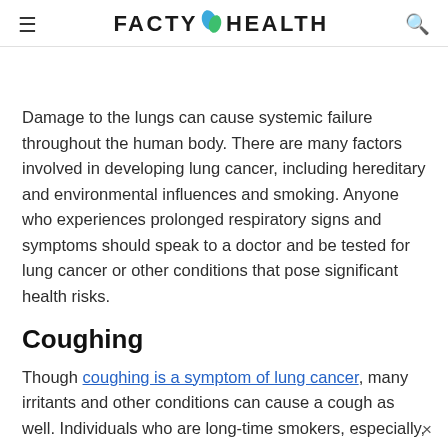FACTY HEALTH
Damage to the lungs can cause systemic failure throughout the human body. There are many factors involved in developing lung cancer, including hereditary and environmental influences and smoking. Anyone who experiences prolonged respiratory signs and symptoms should speak to a doctor and be tested for lung cancer or other conditions that pose significant health risks.
Coughing
Though coughing is a symptom of lung cancer, many irritants and other conditions can cause a cough as well. Individuals who are long-time smokers, especially, may